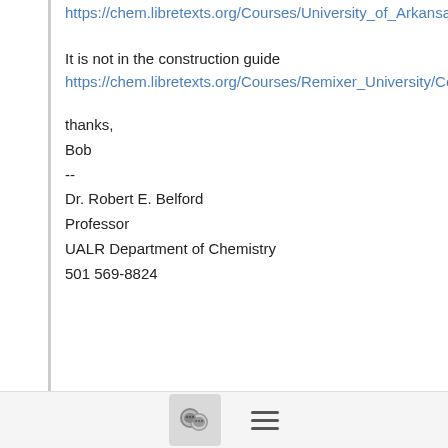https://chem.libretexts.org/Courses/University_of_Arkansas_Little_Rock/Chem_1402%3A_General_Chemistry_1_(Belford)/Text/6%3A_The_Structure_of_Atoms/6.5%3A_The_Modern_View_of_Electronic_Structure#Naming_Orbitals
It is not in the construction guide
https://chem.libretexts.org/Courses/Remixer_University/Construction_Guide/2%3A_Basic_Editing/2.05%3A_Adding_Tables
thanks,
Bob
--
Dr. Robert E. Belford
Professor
UALR Department of Chemistry
501 569-8824